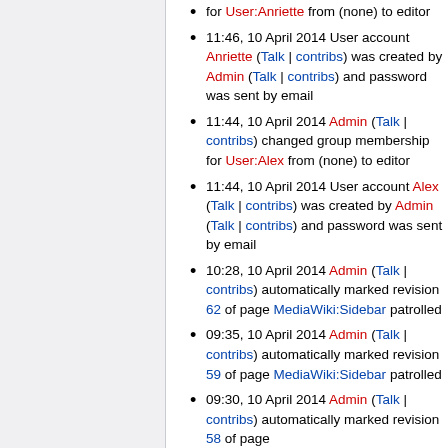for User:Anriette from (none) to editor
11:46, 10 April 2014 User account Anriette (Talk | contribs) was created by Admin (Talk | contribs) and password was sent by email
11:44, 10 April 2014 Admin (Talk | contribs) changed group membership for User:Alex from (none) to editor
11:44, 10 April 2014 User account Alex (Talk | contribs) was created by Admin (Talk | contribs) and password was sent by email
10:28, 10 April 2014 Admin (Talk | contribs) automatically marked revision 62 of page MediaWiki:Sidebar patrolled
09:35, 10 April 2014 Admin (Talk | contribs) automatically marked revision 59 of page MediaWiki:Sidebar patrolled
09:30, 10 April 2014 Admin (Talk | contribs) automatically marked revision 58 of page